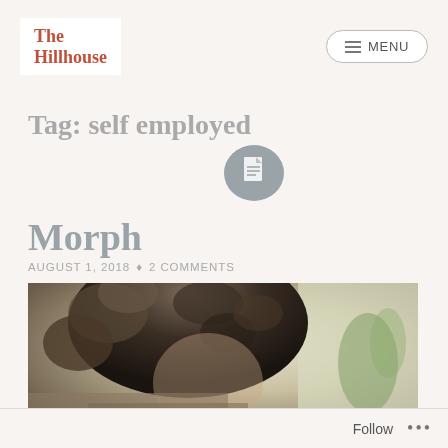The Hillhouse | MENU
Tag: self employed
[Figure (illustration): Document/file icon in dark gray circle shape]
Morph
AUGUST 1, 2018 • 2 COMMENTS
[Figure (photo): Close-up photo of a person with curly dark hair against a bright background]
Follow ...